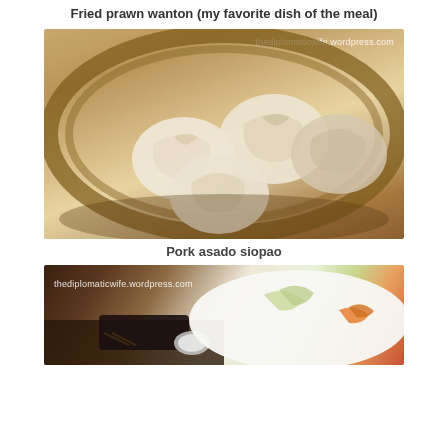Fried prawn wanton (my favorite dish of the meal)
[Figure (photo): Photo of pork asado siopao dumplings in a bamboo steamer basket, with watermark thediplomaticwife.wordpress.com]
Pork asado siopao
[Figure (photo): Photo of a food dish with garnishes including carrots and greens on a white plate, with watermark thediplomaticwife.wordpress.com]